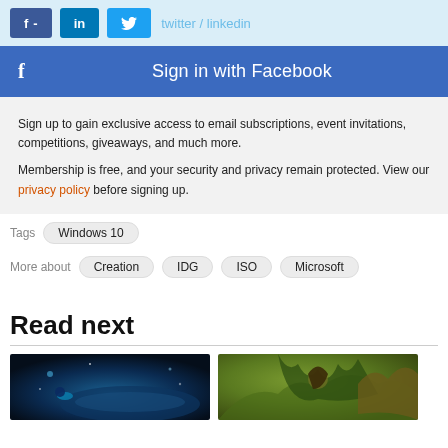[Figure (screenshot): Social media share buttons: Facebook (f-), LinkedIn (in), Twitter (bird icon), with light blue background and partial text 'twitter / linkedin']
[Figure (screenshot): Sign in with Facebook button - blue bar with Facebook f icon on left and 'Sign in with Facebook' text centered]
Sign up to gain exclusive access to email subscriptions, event invitations, competitions, giveaways, and much more.
Membership is free, and your security and privacy remain protected. View our privacy policy before signing up.
Tags: Windows 10
More about: Creation  IDG  ISO  Microsoft
Read next
[Figure (photo): Dark blue sci-fi space scene with planet/spacecraft]
[Figure (photo): Green/brown fantasy creature illustration]